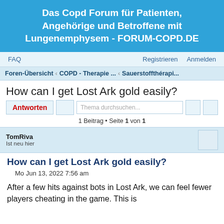Das Copd Forum für Patienten, Angehörige und Betroffene mit Lungenemphysem - FORUM-COPD.DE
FAQ   Registrieren   Anmelden
Foren-Übersicht ‹ COPD - Therapie ... ‹ Sauerstoffthérapi...
How can I get Lost Ark gold easily?
Antworten   Thema durchsuchen...
1 Beitrag • Seite 1 von 1
TomRiva
Ist neu hier
How can I get Lost Ark gold easily?
Mo Jun 13, 2022 7:56 am
After a few hits against bots in Lost Ark, we can feel fewer players cheating in the game. This is